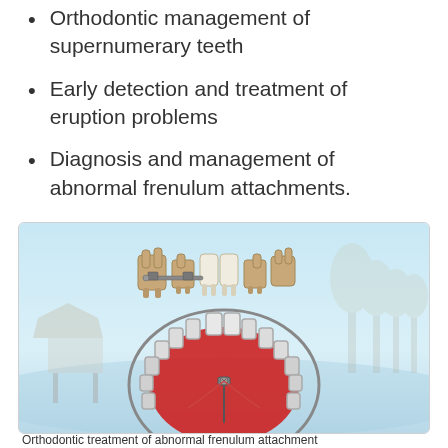Orthodontic management of supernumerary teeth
Early detection and treatment of eruption problems
Diagnosis and management of abnormal frenulum attachments.
[Figure (illustration): Medical dental illustration showing teeth anatomy with orthodontic appliance and palate view with red gum tissue and retainer/frenulum attachment device, set against a light blue tropical background.]
Orthodontic treatment of abnormal frenulum attachment